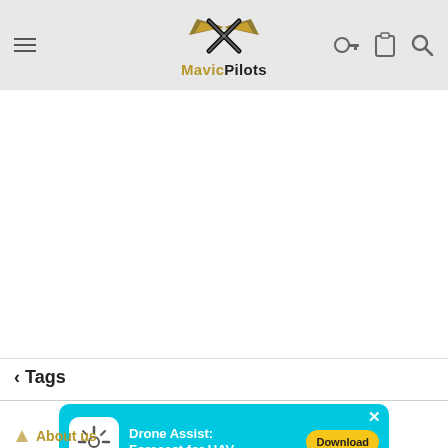MavicPilots navigation header with hamburger menu, logo, and icons
[Figure (logo): MavicPilots logo: winged X emblem with text 'MavicPilots' below]
< Tags
[Figure (screenshot): Drone Assist: Forecast for UAV advertisement banner with Download button]
About us